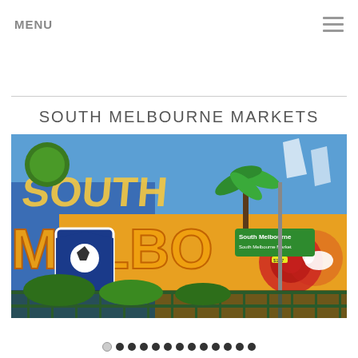MENU
SOUTH MELBOURNE MARKETS
[Figure (photo): Colorful graffiti mural on a brick wall reading 'South Melbourne' with a green street sign visible, showing various illustrated elements including a palm tree, soccer ball shield, and tropical motifs]
Slideshow navigation dots (13 dots, first one active/light)